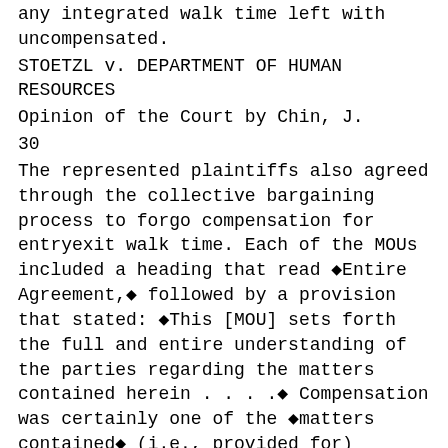any integrated walk time left with uncompensated.
STOETZL v. DEPARTMENT OF HUMAN RESOURCES
Opinion of the Court by Chin, J.
30
The represented plaintiffs also agreed through the collective bargaining process to forgo compensation for entryexit walk time. Each of the MOUs included a heading that read ◆Entire Agreement,◆ followed by a provision that stated: ◆This [MOU] sets forth the full and entire understanding of the parties regarding the matters contained herein . . . .◆ Compensation was certainly one of the ◆matters contained◆ (i.e., provided for)
to each of the MOUs. In fact, the assembledeferral